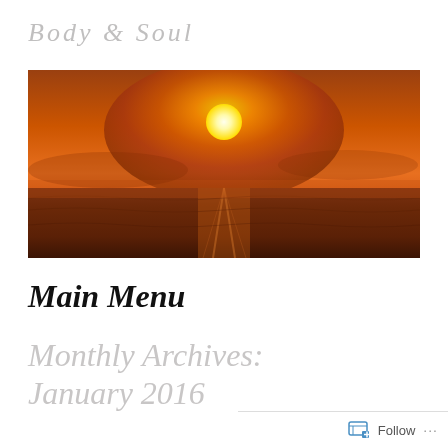Body & Soul
[Figure (photo): Sunset over ocean with bright orange and golden sky, sun reflecting on calm water]
Main Menu
Monthly Archives:
January 2016
Follow ...